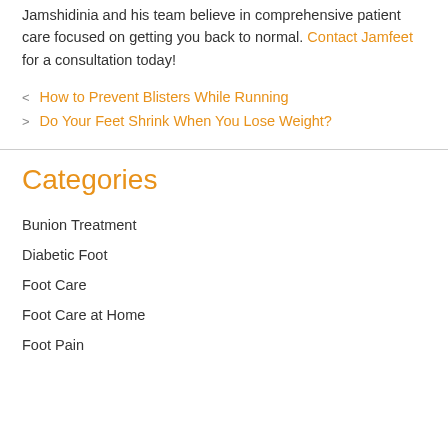Jamshidinia and his team believe in comprehensive patient care focused on getting you back to normal. Contact Jamfeet for a consultation today!
< How to Prevent Blisters While Running
> Do Your Feet Shrink When You Lose Weight?
Categories
Bunion Treatment
Diabetic Foot
Foot Care
Foot Care at Home
Foot Pain